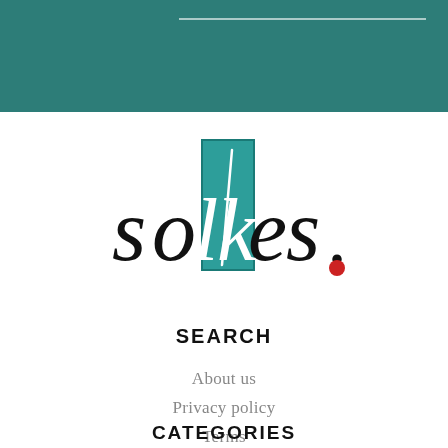[Figure (other): Teal/dark green header bar with a thin horizontal white line near the top]
[Figure (logo): Solkes logo: stylized cursive text 'solkes.' with teal rectangle behind the 'lk' letters and a red dot after the 's']
SEARCH
About us
Privacy policy
Terms
Contributors
Contact
CATEGORIES